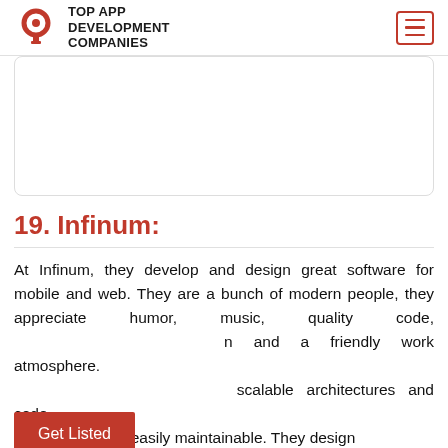TOP APP DEVELOPMENT COMPANIES
[Figure (other): Empty white card/image placeholder with rounded border]
19. Infinum:
At Infinum, they develop and design great software for mobile and web. They are a bunch of modern people, they appreciate humor, music, quality code, and a friendly work atmosphere. scalable architectures and code that's stable and easily maintainable. They design